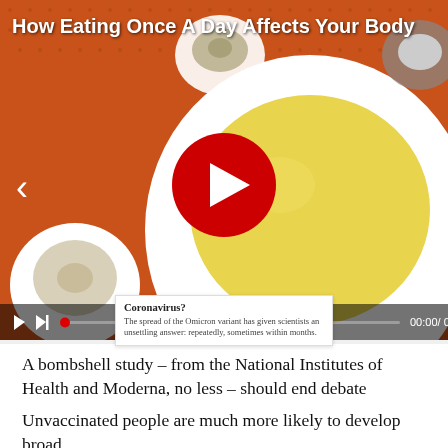[Figure (screenshot): Video thumbnail showing a hard-boiled egg cut in half on an orange background, with a red play button in the center and video controls at the bottom. A left navigation arrow is visible on the left side.]
How Eating Once A Day Affects Your Body
[Figure (screenshot): Small article card overlay showing text: 'Coronavirus?' with body text 'The spread of the Omicron variant has given scientists an unsettling answer: repeatedly, sometimes within months.']
A bombshell study – from the National Institutes of Health and Moderna, no less – should end debate
Unvaccinated people are much more likely to develop broad